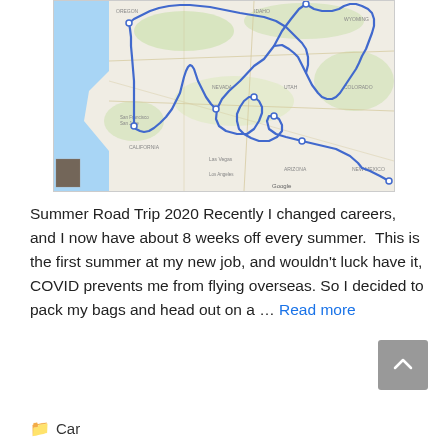[Figure (map): Google Map showing a road trip route through the western United States, with a blue line tracing a loop through California, Oregon, Idaho, Wyoming, Utah, Colorado, New Mexico, Arizona, Nevada and back. Small thumbnail image in lower left corner of map.]
Summer Road Trip 2020 Recently I changed careers, and I now have about 8 weeks off every summer.  This is the first summer at my new job, and wouldn't luck have it, COVID prevents me from flying overseas. So I decided to pack my bags and head out on a … Read more
Car